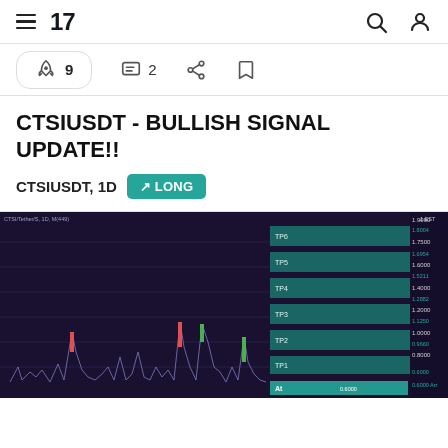TradingView navigation bar with hamburger menu, logo '17', search icon, and profile icon
🚀 9   💬 2  share  bookmark
CTSIUSDT - BULLISH SIGNAL UPDATE!!
CTSIUSDT, 1D  ↗ LONG
[Figure (screenshot): TradingView chart for CTSIUSDT on 1D timeframe showing candlestick price action with multiple take-profit levels (TP1 through TP6) highlighted in teal/green zones on the right side of the chart. Price axis shows values from approximately 0.6000 to 1.8000+. Chart has dark purple/navy background.]